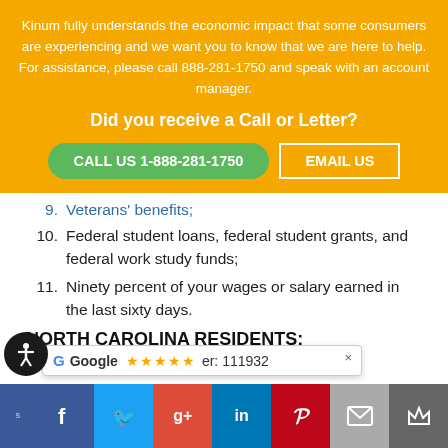Kinum fully understands the economic impact that some consumers are experiencing and we want you to know that we are here to help. For assistance, please call 888-281-1750 and speak with an account manager.
Did you receive a Call or Letter?
CALL US 1-888-281-1750
EMAIL US
9.  Veterans' benefits;
10. Federal student loans, federal student grants, and federal work study funds;
11. Ninety percent of your wages or salary earned in the last sixty days.
NORTH CAROLINA RESIDENTS:
Google  er: 111932
Share on social media